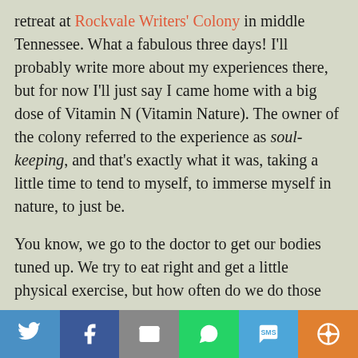retreat at Rockvale Writers' Colony in middle Tennessee. What a fabulous three days! I'll probably write more about my experiences there, but for now I'll just say I came home with a big dose of Vitamin N (Vitamin Nature). The owner of the colony referred to the experience as soul-keeping, and that's exactly what it was, taking a little time to tend to myself, to immerse myself in nature, to just be.
You know, we go to the doctor to get our bodies tuned up. We try to eat right and get a little physical exercise, but how often do we do those things that really nurture our souls, our minds?
[Figure (other): Social sharing bar with icons for Twitter, Facebook, Email, WhatsApp, SMS, and More]